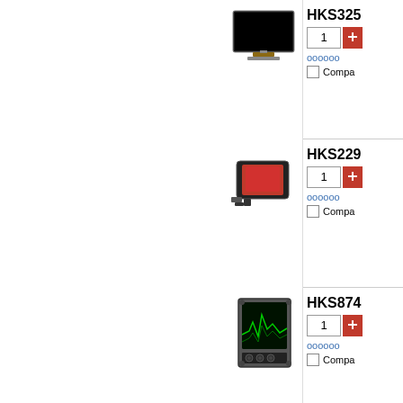[Figure (photo): LCD/TFT display screen product image - black screen on stand]
HKS325
1
oooooo (wishlist link)
Compa
[Figure (photo): Red illuminated instrument/camera housing product image]
HKS229
1
oooooo (wishlist link)
Compa
[Figure (photo): Electronic instrument/display device with green screen]
HKS874
1
oooooo (wishlist link)
Compa